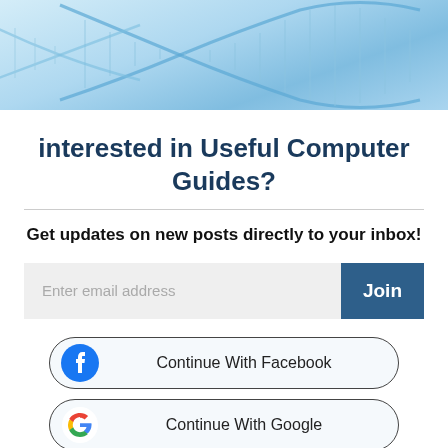[Figure (illustration): Blue DNA double helix illustration on light blue gradient background, positioned in the top banner area]
interested in Useful Computer Guides?
Get updates on new posts directly to your inbox!
[Figure (other): Email input field with placeholder 'Enter email address' and a dark blue 'Join' button]
[Figure (other): Button: Continue With Facebook (Facebook icon on left, rounded pill border)]
[Figure (other): Button: Continue With Google (Google G icon on left, rounded pill border)]
Already a member? Log in